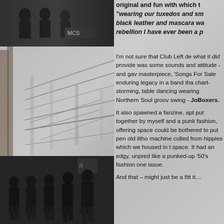[Figure (photo): Black and white photo of people at top left, partially visible, with 'MCS' sign visible]
original and fun with which t... "wearing our tuxedos and sm... black leather and mascara wa... rebellion I have ever been a p...
[Figure (photo): Background architectural photo showing bridge/building structure in grey tones]
I'm not sure that Club Left de... what it did provide was some... sounds and attitude - and gaw... masterpiece, 'Songs For Sale... enduring legacy in a band tha... chart-storming, table dancing... wearing Northern Soul groov... swing - JoBoxers.
[Figure (photo): Black and white group photo of five young men in 1950s/early 1980s fashion, standing together]
It also spawned a fanzine, apt... put together by myself and a... punk fashion, offering space... could be bothered to put pen... old litho machine culled from... hippies which we housed in t... space. It had an edgy, unpred... like a punked-up '50's fashion... one issue.
And that – might just be a fitt... it...